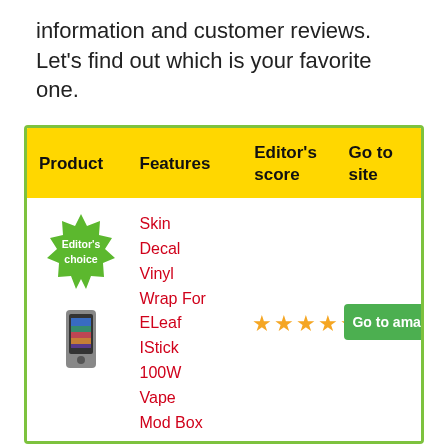information and customer reviews. Let's find out which is your favorite one.
| Product | Features | Editor's score | Go to site |
| --- | --- | --- | --- |
| Editor's choice [badge] + product image | Skin Decal Vinyl Wrap For ELeaf IStick 100W Vape Mod Box | ★★★★★ | Go to amaz... |